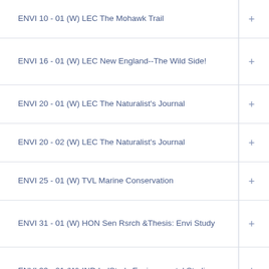ENVI 10 - 01 (W) LEC The Mohawk Trail
ENVI 16 - 01 (W) LEC New England--The Wild Side!
ENVI 20 - 01 (W) LEC The Naturalist's Journal
ENVI 20 - 02 (W) LEC The Naturalist's Journal
ENVI 25 - 01 (W) TVL Marine Conservation
ENVI 31 - 01 (W) HON Sen Rsrch &Thesis: Envi Study
ENVI 99 - 01 (W) IND IndStudy:Environmental Studies